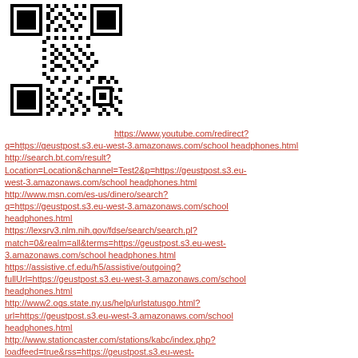[Figure (other): QR code image in black and white, positioned in top-left area of page]
https://www.youtube.com/redirect?q=https://geustpost.s3.eu-west-3.amazonaws.com/school headphones.html
http://search.bt.com/result?Location=Location&channel=Test2&p=https://geustpost.s3.eu-west-3.amazonaws.com/school headphones.html
http://www.msn.com/es-us/dinero/search?q=https://geustpost.s3.eu-west-3.amazonaws.com/school headphones.html
https://lexsrv3.nlm.nih.gov/fdse/search/search.pl?match=0&realm=all&terms=https://geustpost.s3.eu-west-3.amazonaws.com/school headphones.html
https://assistive.cf.edu/h5/assistive/outgoing?fullUrl=https://geustpost.s3.eu-west-3.amazonaws.com/school headphones.html
http://www2.ogs.state.ny.us/help/urlstatusgo.html?url=https://geustpost.s3.eu-west-3.amazonaws.com/school headphones.html
http://www.stationcaster.com/stations/kabc/index.php?loadfeed=true&rss=https://geustpost.s3.eu-west-3.amazonaws.com/school headphones.html
http://sys.labaq.com/cli/go.php?s=lbac&p=1410jt&t=02&url=https://geustpost.s3.eu-west-3.amazonaws.com/school headphones.html
http://georgewbushlibrary.smu.edu/exit.aspx?url=https://geustpost.s3.eu-west-3.amazonaws.com/school headphones.html
http://libcat.cofc.edu:4550/showres?url=https://geustpost.s3.eu-west-3.amazonaws.com/school headphones.html
http://webfeeds.brookings.edu/~/t/0/0/brookingsrss/topfeeds/latestfrombrookings/~h